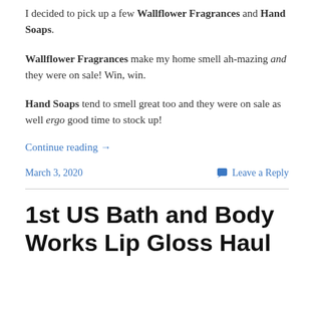I decided to pick up a few Wallflower Fragrances and Hand Soaps.
Wallflower Fragrances make my home smell ah-mazing and they were on sale! Win, win.
Hand Soaps tend to smell great too and they were on sale as well ergo good time to stock up!
Continue reading →
March 3, 2020
Leave a Reply
1st US Bath and Body Works Lip Gloss Haul